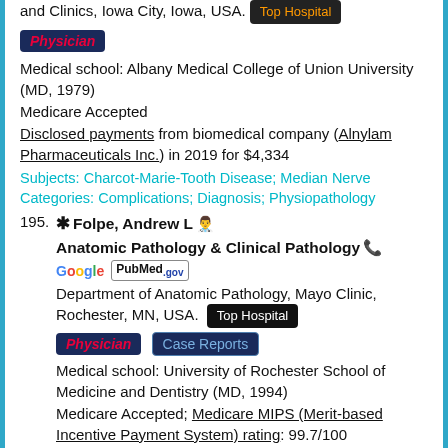and Clinics, Iowa City, Iowa, USA. [Top Hospital badge]
Physician [badge]
Medical school: Albany Medical College of Union University (MD, 1979)
Medicare Accepted
Disclosed payments from biomedical company (Alnylam Pharmaceuticals Inc.) in 2019 for $4,334
Subjects: Charcot-Marie-Tooth Disease; Median Nerve Categories: Complications; Diagnosis; Physiopathology
195. Folpe, Andrew L [icon] Anatomic Pathology & Clinical Pathology [phone] Google PubMed.gov
Department of Anatomic Pathology, Mayo Clinic, Rochester, MN, USA. [Top Hospital]
Physician [badge] Case Reports [badge]
Medical school: University of Rochester School of Medicine and Dentistry (MD, 1994)
Medicare Accepted; Medicare MIPS (Merit-based Incentive Payment System) rating: 99.7/100
Subjects: Fibroma; Median Nerve; Wrist